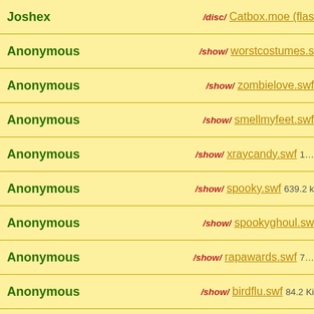| User | Post |
| --- | --- |
| Joshex | /disc/ Catbox.moe (flas… |
| Anonymous | /show/ worstcostumes.s… |
| Anonymous | /show/ zombielove.swf |
| Anonymous | /show/ smellmyfeet.swf… |
| Anonymous | /show/ xraycandy.swf 1… |
| Anonymous | /show/ spooky.swf 639.2… |
| Anonymous | /show/ spookyghoul.sw… |
| Anonymous | /show/ rapawards.swf 7… |
| Anonymous | /show/ birdflu.swf 84.2 Ki… |
| Anonymous | /show/ Gorillaz - Re Ha… |
| Anonymous | /show/ The Parappa Ge… |
| Anonymous | /show/ cirrus_boomerar… |